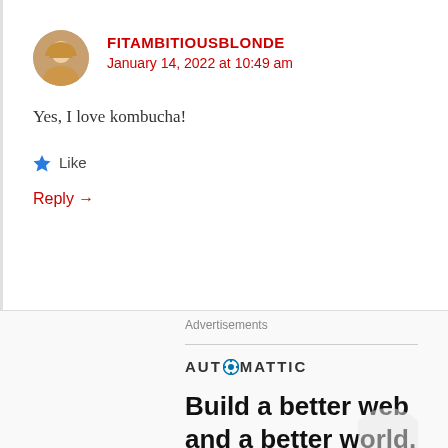[Figure (photo): Round avatar photo of a blonde woman]
FITAMBITIOUSBLONDE
January 14, 2022 at 10:49 am
Yes, I love kombucha!
Like
Reply →
Advertisements
[Figure (logo): Automattic logo with circular O icon and uppercase text]
Build a better web and a better world.